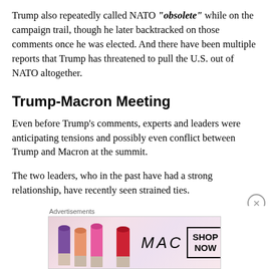Trump also repeatedly called NATO “obsolete” while on the campaign trail, though he later backtracked on those comments once he was elected. And there have been multiple reports that Trump has threatened to pull the U.S. out of NATO altogether.
Trump-Macron Meeting
Even before Trump’s comments, experts and leaders were anticipating tensions and possibly even conflict between Trump and Macron at the summit.
The two leaders, who in the past have had a strong relationship, have recently seen strained ties.
So Macron hinted repeatedly before the summit at pressing the...
[Figure (other): MAC cosmetics advertisement showing colorful lipsticks with MAC logo and SHOP NOW button]